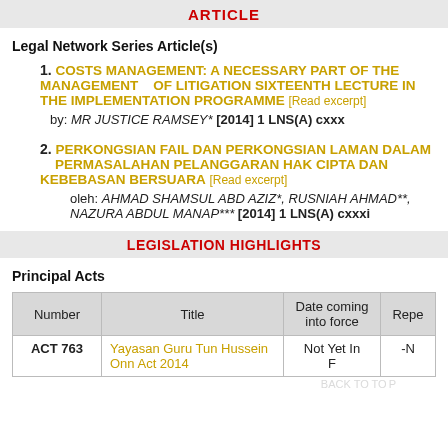ARTICLE
Legal Network Series Article(s)
1. COSTS MANAGEMENT: A NECESSARY PART OF THE MANAGEMENT OF LITIGATION SIXTEENTH LECTURE IN THE IMPLEMENTATION PROGRAMME [Read excerpt] by: MR JUSTICE RAMSEY* [2014] 1 LNS(A) cxxx
2. PERKONGSIAN FAIL DAN PERKONGSIAN LAMAN DALAM PERMASALAHAN PELANGGARAN HAK CIPTA DAN KEBEBASAN BERSUARA [Read excerpt] oleh: AHMAD SHAMSUL ABD AZIZ*, RUSNIAH AHMAD**, NAZURA ABDUL MANAP*** [2014] 1 LNS(A) cxxxi
LEGISLATION HIGHLIGHTS
Principal Acts
| Number | Title | Date coming into force | Repe |
| --- | --- | --- | --- |
| ACT 763 | Yayasan Guru Tun Hussein Onn Act 2014 | Not Yet In F | -N |